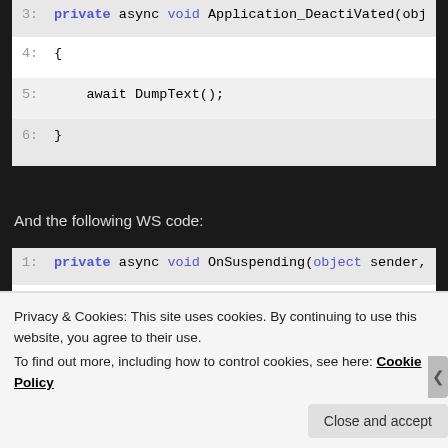[Figure (screenshot): Code snippet showing lines 3-6 of C# method Application_Deactivated with 'private async void' keywords highlighted in blue, line 5 shows 'await DumpText();']
And the following WS code:
[Figure (screenshot): Code snippet showing lines 1-4 of C# method OnSuspending with 'private async void object' keywords highlighted in blue, line 3 shows 'await DumpText();']
Privacy & Cookies: This site uses cookies. By continuing to use this website, you agree to their use.
To find out more, including how to control cookies, see here: Cookie Policy